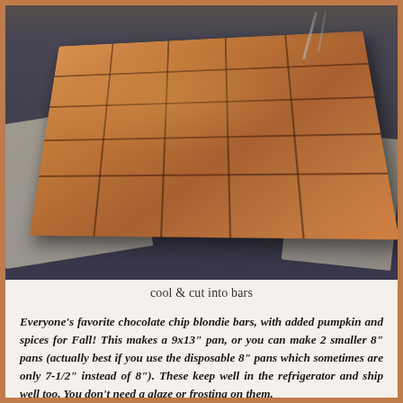[Figure (photo): A tray of pumpkin chocolate chip blondie bars, cut into a 5x5 grid of squares, viewed from a slight angle on a dark surface with parchment paper underneath.]
cool & cut into bars
Everyone's favorite chocolate chip blondie bars, with added pumpkin and spices for Fall!  This makes a 9x13" pan, or you can make 2 smaller 8" pans (actually best if you use the disposable 8" pans which sometimes are only 7-1/2" instead of 8").  These keep well in the refrigerator and ship well too.  You don't need a glaze or frosting on them.